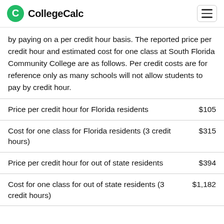CollegeCalc
by paying on a per credit hour basis. The reported price per credit hour and estimated cost for one class at South Florida Community College are as follows. Per credit costs are for reference only as many schools will not allow students to pay by credit hour.
| Description | Cost |
| --- | --- |
| Price per credit hour for Florida residents | $105 |
| Cost for one class for Florida residents (3 credit hours) | $315 |
| Price per credit hour for out of state residents | $394 |
| Cost for one class for out of state residents (3 credit hours) | $1,182 |